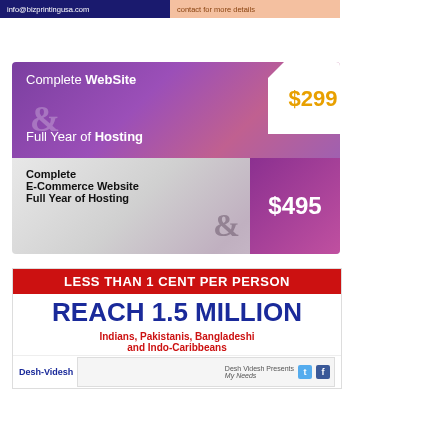[Figure (infographic): Email and phone contact bar for bizprintingusa.com]
[Figure (infographic): Website hosting ad: Complete WebSite & Full Year of Hosting $299, Complete E-Commerce Website & Full Year of Hosting $495]
[Figure (infographic): Reach ad: LESS THAN 1 CENT PER PERSON, REACH 1.5 MILLION Indians, Pakistanis, Bangladeshi and Indo-Caribbeans, Desh-Videsh]